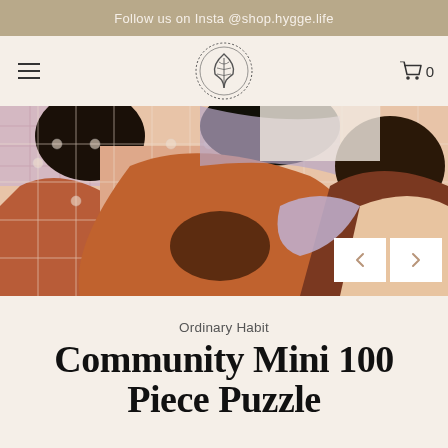Follow us on Insta @shop.hygge.life
[Figure (logo): Hygge life shop logo — circular badge with a stylized leaf/feather icon inside, dotted border]
[Figure (photo): Close-up photo of a jigsaw puzzle showing illustrated diverse people with warm skin tones in terracotta, brown, peach, and lavender colors, with puzzle pieces partially assembled. Navigation arrows (left/right) overlaid at bottom right.]
Ordinary Habit
Community Mini 100 Piece Puzzle